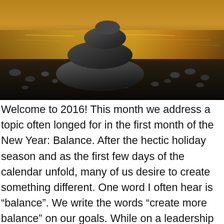[Figure (photo): Stacked smooth stones/pebbles balanced on a rocky beach at sunset, with warm golden/amber light reflecting on water in the background. Three large rounded stones stacked vertically, surrounded by smaller pebbles.]
Welcome to 2016!  This month we address a topic often longed for in the first month of the New Year:  Balance.  After the hectic holiday season and as the first few days of the calendar unfold,  many of us desire to create something different.  One word I often hear is “balance”. We write the words “create more balance” on our goals.  While on a leadership team call today, a participant stated that one of his top 2016 goals is seeking more balance for his team